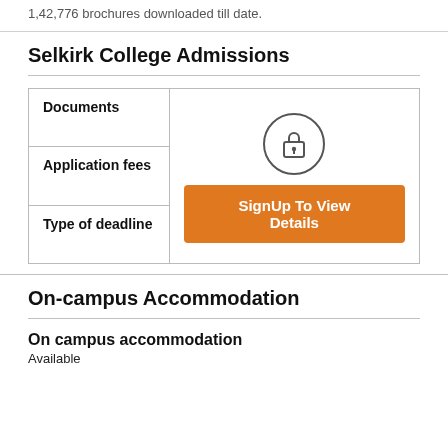1,42,776 brochures downloaded till date.
Selkirk College Admissions
| Documents |  |
| --- | --- |
| Application fees | [SignUp To View Details] |
| Type of deadline |  |
On-campus Accommodation
On campus accommodation
Available